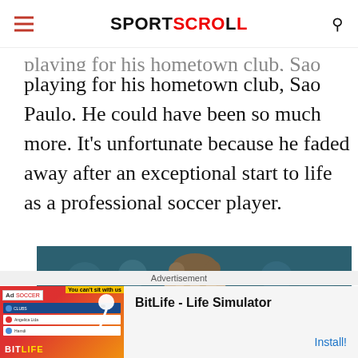SPORTSCROLL
playing for his hometown club, Sao Paulo. He could have been so much more. It's unfortunate because he faded away after an exceptional start to life as a professional soccer player.
[Figure (photo): Close-up photo of a soccer player's head and upper body, blurred crowd in background, dark blue/teal background tones]
Advertisement
BitLife - Life Simulator
Install!